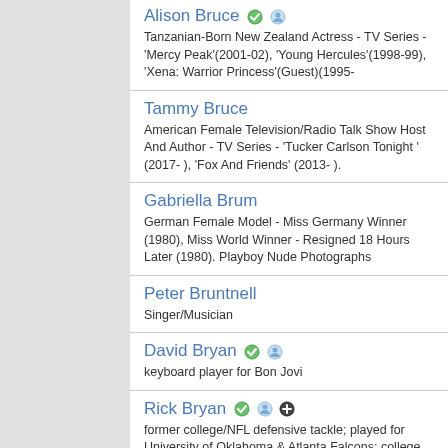Alison Bruce — Tanzanian-Born New Zealand Actress - TV Series - 'Mercy Peak'(2001-02), 'Young Hercules'(1998-99), 'Xena: Warrior Princess'(Guest)(1995-
Tammy Bruce — American Female Television/Radio Talk Show Host And Author - TV Series - 'Tucker Carlson Tonight ' (2017- ), 'Fox And Friends' (2013- ).
Gabriella Brum — German Female Model - Miss Germany Winner (1980), Miss World Winner - Resigned 18 Hours Later (1980). Playboy Nude Photographs
Peter Bruntnell — Singer/Musician
David Bryan — keyboard player for Bon Jovi
Rick Bryan — former college/NFL defensive tackle; played for University of Oklahoma & Atlanta Falcons; college All-American; #9 pick: first round 1984 NFL
Bart Bryant — golfer